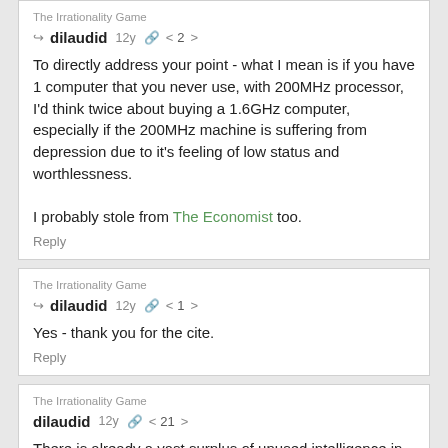The Irrationality Game
dilaudid  12y  2
To directly address your point - what I mean is if you have 1 computer that you never use, with 200MHz processor, I'd think twice about buying a 1.6GHz computer, especially if the 200MHz machine is suffering from depression due to it's feeling of low status and worthlessness.

I probably stole from The Economist too.
Reply
The Irrationality Game
dilaudid  12y  1
Yes - thank you for the cite.
Reply
The Irrationality Game
dilaudid  12y  21
There is already a vast surplus of unused intelligence in the human race, so working on generalized AI is a waste of time (80%).